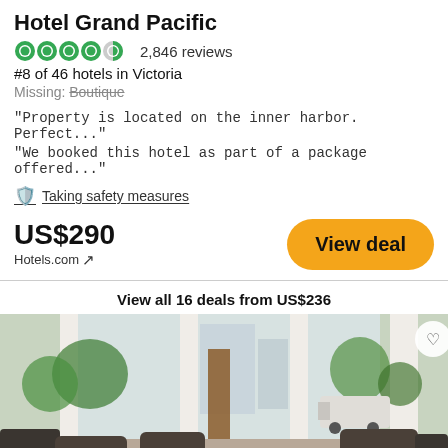Hotel Grand Pacific
2,846 reviews
#8 of 46 hotels in Victoria
Missing: Boutique
"Property is located on the inner harbor. Perfect..."
"We booked this hotel as part of a package offered..."
Taking safety measures
US$290
Hotels.com
View deal
View all 16 deals from US$236
[Figure (photo): Hotel lobby/lounge area with upholstered armchairs, a glass coffee table, white curtains, floor-to-ceiling windows overlooking a courtyard and city street with palm trees and a van visible outside.]